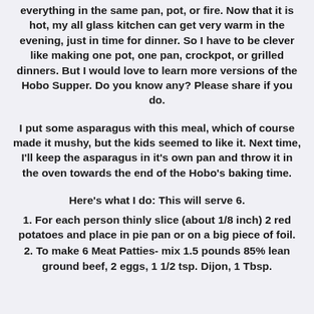everything in the same pan, pot, or fire. Now that it is hot, my all glass kitchen can get very warm in the evening, just in time for dinner. So I have to be clever like making one pot, one pan, crockpot, or grilled dinners. But I would love to learn more versions of the Hobo Supper. Do you know any? Please share if you do.
I put some asparagus with this meal, which of course made it mushy, but the kids seemed to like it. Next time, I'll keep the asparagus in it's own pan and throw it in the oven towards the end of the Hobo's baking time.
Here's what I do: This will serve 6.
1. For each person thinly slice (about 1/8 inch) 2 red potatoes and place in pie pan or on a big piece of foil.
2. To make 6 Meat Patties- mix 1.5 pounds 85% lean ground beef, 2 eggs, 1 1/2 tsp. Dijon, 1 Tbsp.